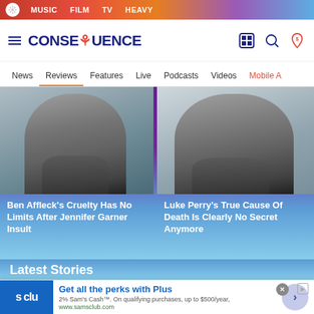MUSIC  FILM  TV  HEAVY
[Figure (logo): Consequence of Sound logo with navigation icons]
News  Reviews  Features  Live  Podcasts  Videos  Mobile A
[Figure (photo): Two article thumbnails: Ben Affleck and Luke Perry headshots on purple-to-blue gradient background]
Ben Affleck's Cruelty Has No Limits After Jennifer Garner Insult
Luke Perry's True Cause Of Death Is Clearly No Secret Anymore
Latest Stories
[Figure (screenshot): Sam's Club advertisement: Get all the perks with Plus. 2% Sam's Cash™. On qualifying purchases, up to $500/year. www.samsclub.com]